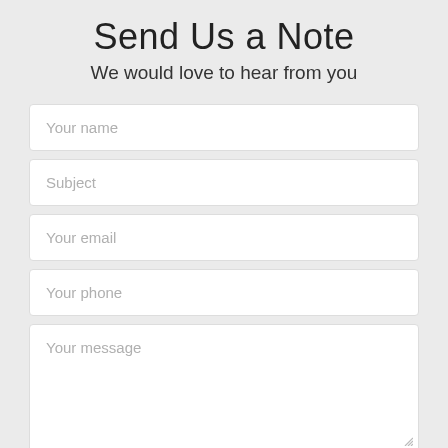Send Us a Note
We would love to hear from you
[Figure (screenshot): Web contact form with fields: Your name, Subject, Your email, Your phone, Your message (textarea), and a Send button]